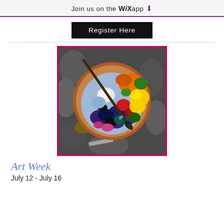Join us on the WiX app ⬇
Register Here
[Figure (photo): Overhead photo of an artist's paint palette — a terracotta dish covered in vivid blobs of oil or acrylic paint in orange, yellow, red, green, blue, purple, white, and black, with a paintbrush resting across it, all set on a paint-stained surface.]
Art Week
July 12 - July 16